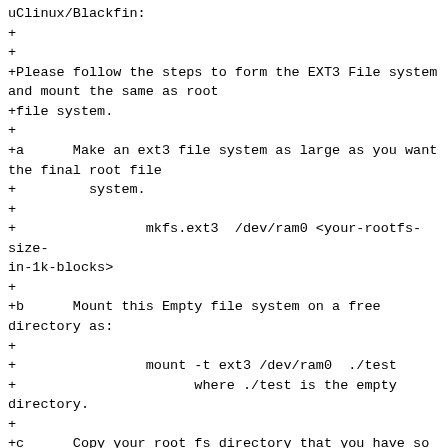uClinux/Blackfin:
+
+
+Please follow the steps to form the EXT3 File system and mount the same as root
+file system.
+
+a      Make an ext3 file system as large as you want the final root file
+         system.
+
+                mkfs.ext3  /dev/ram0 <your-rootfs-size-in-1k-blocks>
+
+b      Mount this Empty file system on a free directory as:
+
+                mount -t ext3 /dev/ram0  ./test
+                      where ./test is the empty directory.
+
+c      Copy your root fs directory that you have so carefully made over.
+
+                cp -af  /tmp/my_final_rootfs_files/* ./test
+
+                (For ex: cp -af uClinux-dist/romfs/* ./test)
+